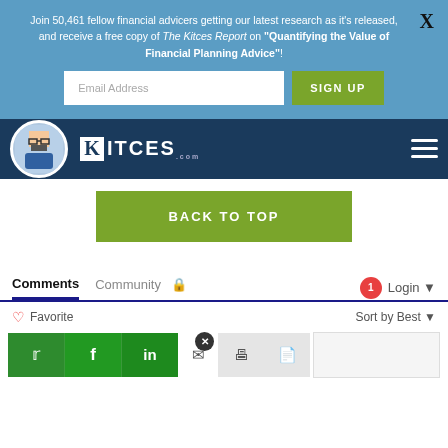Join 50,461 fellow financial advicers getting our latest research as it's released, and receive a free copy of The Kitces Report on "Quantifying the Value of Financial Planning Advice"!
[Figure (screenshot): Email address input field and SIGN UP green button on blue banner background]
[Figure (logo): Kitces.com navigation bar with pixel avatar, Kitces logo, and hamburger menu on dark blue background]
BACK TO TOP
Comments  Community  Login
♡ Favorite  Sort by Best
[Figure (screenshot): Social share buttons row: Twitter, Facebook, LinkedIn (green), email, print, PDF icons, close button, and search input]